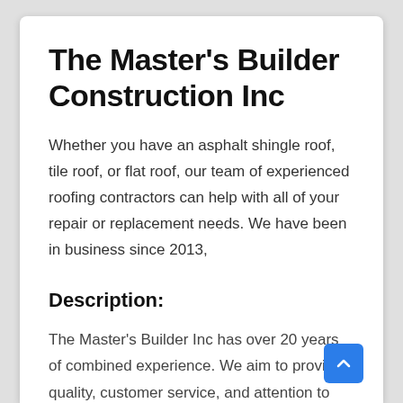The Master's Builder Construction Inc
Whether you have an asphalt shingle roof, tile roof, or flat roof, our team of experienced roofing contractors can help with all of your repair or replacement needs. We have been in business since 2013,
Description:
The Master's Builder Inc has over 20 years of combined experience. We aim to provide quality, customer service, and attention to detail every step of the process. We are your one-stop-shop for all things roofing, gutters, solar panels, storm repairs, and even an addition in Northern Colorado. We'll take care of all